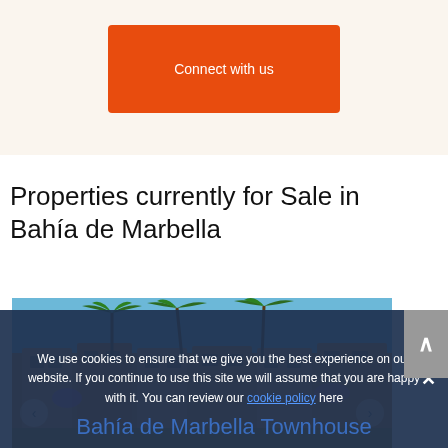Connect with us
Properties currently for Sale in Bahía de Marbella
[Figure (photo): Photograph of Bahía de Marbella townhouses with palm trees and blue sky]
Bahía de Marbella Townhouse
We use cookies to ensure that we give you the best experience on our website. If you continue to use this site we will assume that you are happy with it. You can review our cookie policy here